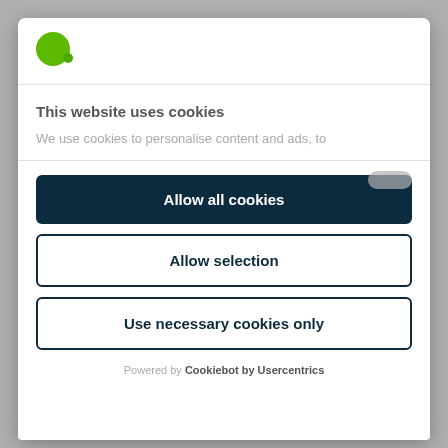[Figure (logo): Green circle logo (Cookiebot)]
This website uses cookies
We use cookies to personalise content and ads, to
Allow all cookies
Allow selection
Use necessary cookies only
Powered by Cookiebot by Usercentrics